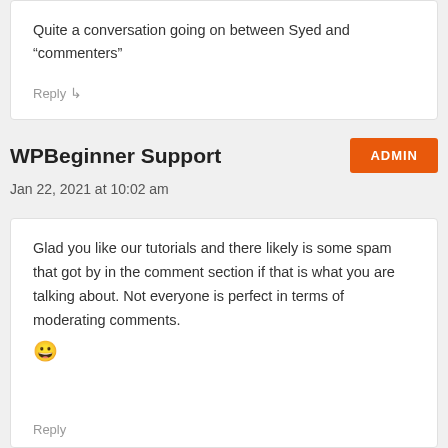Quite a conversation going on between Syed and “commenters”
Reply
WPBeginner Support
ADMIN
Jan 22, 2021 at 10:02 am
Glad you like our tutorials and there likely is some spam that got by in the comment section if that is what you are talking about. Not everyone is perfect in terms of moderating comments. 😀
Reply